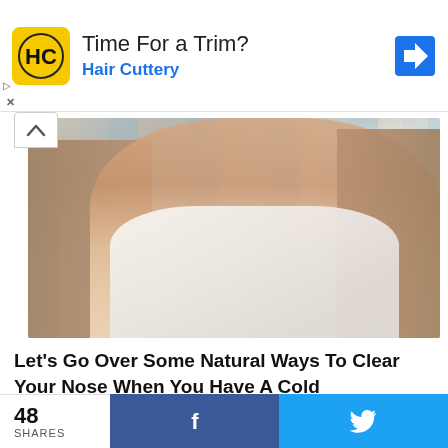[Figure (infographic): Hair Cuttery advertisement banner with yellow logo showing HC letters, text 'Time For a Trim?' and 'Hair Cuttery' in blue, with blue diamond arrow icon on right]
[Figure (photo): Woman holding white tissue to her nose, blonde hair, looking at camera, appearing to have a cold]
Let’s Go Over Some Natural Ways To Clear Your Nose When You Have A Cold
YOU MAY ALSO LIKE
48 SHARES